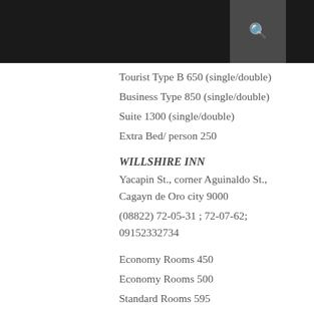Tourist Type B 650 (single/double)
Business Type 850 (single/double)
Suite 1300 (single/double)
Extra Bed/ person 250
WILLSHIRE INN
Yacapin St., corner Aguinaldo St., Cagayn de Oro city 9000
(08822) 72-05-31 ; 72-07-62; 09152332734
Economy Rooms 450
Economy Rooms 500
Standard Rooms 595
Deluxe Rooms 695
Junior Executive Rooms 795
Superior Rooms 880